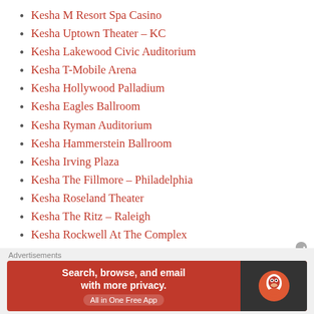Kesha M Resort Spa Casino
Kesha Uptown Theater – KC
Kesha Lakewood Civic Auditorium
Kesha T-Mobile Arena
Kesha Hollywood Palladium
Kesha Eagles Ballroom
Kesha Ryman Auditorium
Kesha Hammerstein Ballroom
Kesha Irving Plaza
Kesha The Fillmore – Philadelphia
Kesha Roseland Theater
Kesha The Ritz – Raleigh
Kesha Rockwell At The Complex
Kesha Masonic Auditorium At Nob Hill Masonic Center
Kesha Showbox SoDo
Kesha The Fillmore – Silver Spring (truncated)
Advertisements
[Figure (infographic): DuckDuckGo advertisement banner: orange background with text 'Search, browse, and email with more privacy. All in One Free App' and DuckDuckGo duck logo on dark right panel.]